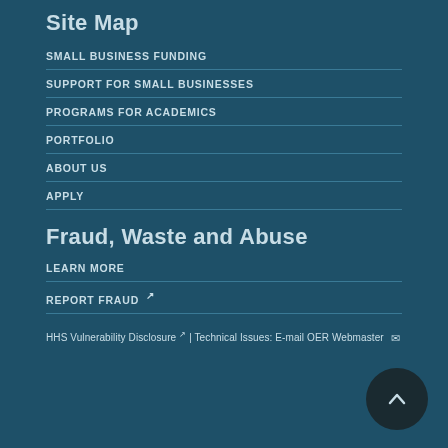Site Map
SMALL BUSINESS FUNDING
SUPPORT FOR SMALL BUSINESSES
PROGRAMS FOR ACADEMICS
PORTFOLIO
ABOUT US
APPLY
Fraud, Waste and Abuse
LEARN MORE
REPORT FRAUD [external link]
HHS Vulnerability Disclosure [external link] | Technical Issues: E-mail OER Webmaster [mail icon]